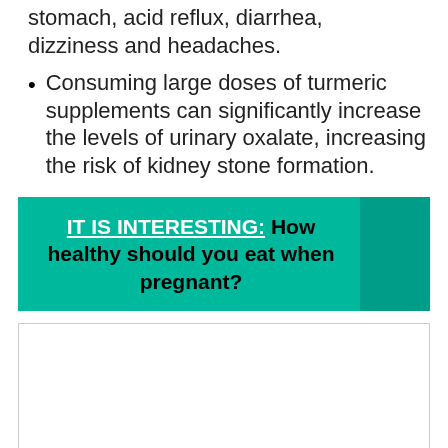stomach, acid reflux, diarrhea, dizziness and headaches.
Consuming large doses of turmeric supplements can significantly increase the levels of urinary oxalate, increasing the risk of kidney stone formation.
IT IS INTERESTING:  How healthy should you eat when pregnant?
[Figure (other): White content box with border, appears to be a placeholder or image area]